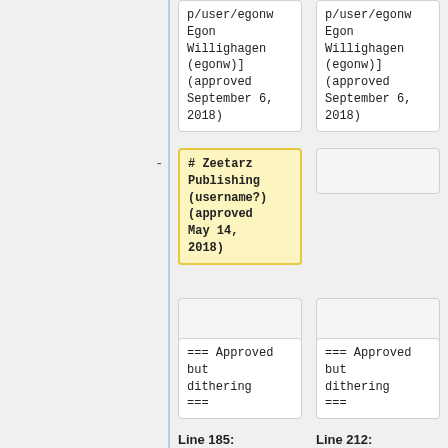p/user/egonw Egon Willighagen (egonw)] (approved September 6, 2018)
p/user/egonw Egon Willighagen (egonw)] (approved September 6, 2018)
# Zeetarz Publishing (username?) (approved May 14, 2018)
=== Approved but dithering ===
=== Approved but dithering ===
Line 185:
Line 212: